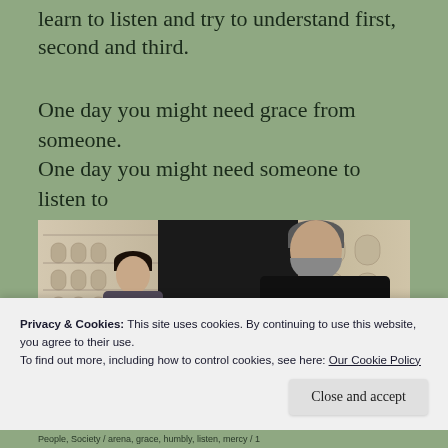learn to listen and try to understand first, second and third.
One day you might need grace from someone. One day you might need someone to listen to you.
[Figure (photo): Two people, a young woman and an older bearded man, having a conversation outdoors with a historic building facade in the background.]
Privacy & Cookies: This site uses cookies. By continuing to use this website, you agree to their use.
To find out more, including how to control cookies, see here: Our Cookie Policy
People, Society / arena, grace, humbly, listen, mercy / 1